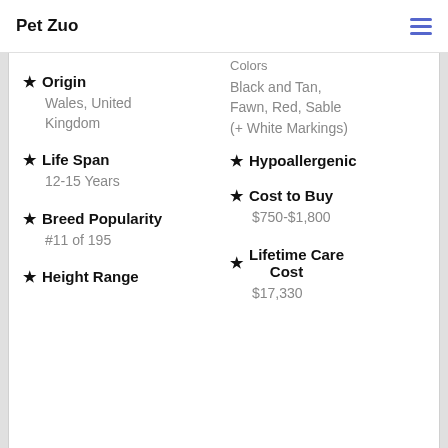Pet Zuo
Colors
Black and Tan, Fawn, Red, Sable (+ White Markings)
Origin
Wales, United Kingdom
Hypoallergenic
Life Span
12-15 Years
Cost to Buy
$750-$1,800
Breed Popularity
#11 of 195
Lifetime Care Cost
$17,330
Height Range